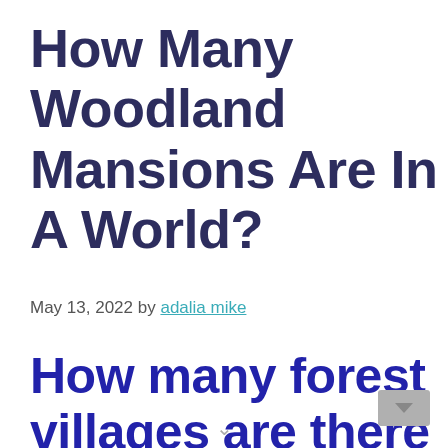How Many Woodland Mansions Are In A World?
May 13, 2022 by adalia mike
How many forest villages are there in the world?